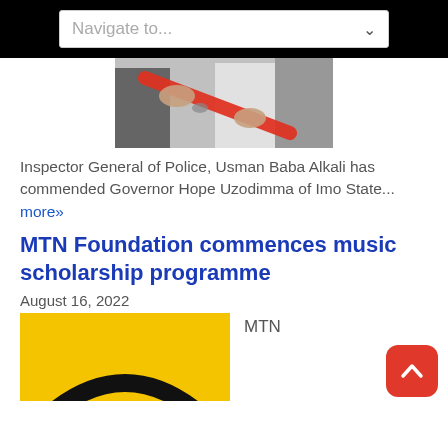Navigate to...
[Figure (photo): Photo of a ribbon-cutting ceremony with people in the background, a red ribbon being cut with scissors]
Inspector General of Police, Usman Baba Alkali has commended Governor Hope Uzodimma of Imo State... more»
MTN Foundation commences music scholarship programme
August 16, 2022
[Figure (logo): MTN logo — yellow background with black arc/smile at bottom, MTN text label beside it]